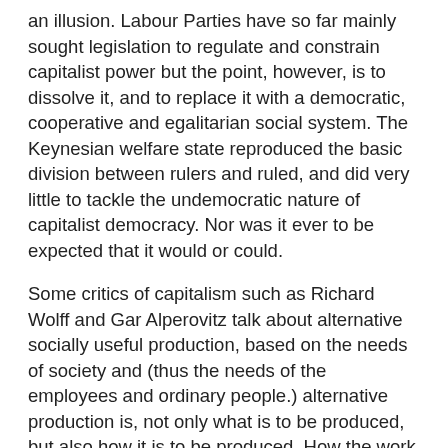an illusion. Labour Parties have so far mainly sought legislation to regulate and constrain capitalist power but the point, however, is to dissolve it, and to replace it with a democratic, cooperative and egalitarian social system. The Keynesian welfare state reproduced the basic division between rulers and ruled, and did very little to tackle the undemocratic nature of capitalist democracy. Nor was it ever to be expected that it would or could.
Some critics of capitalism such as Richard Wolff and Gar Alperovitz talk about alternative socially useful production, based on the needs of society and (thus the needs of the employees and ordinary people.) alternative production is, not only what is to be produced, but also how it is to be produced. How the work is to be organised so that it's not just fair but also pleasant. Within these new models of cooperative production goods shall be designed and manufactured more for the needs it fulfils than for the profit it might make and should not waste energy or resources, neither in its manufacture, nor in its use. The product should not harm the environment nor deprive workers of their initiative, creativity, or job satisfaction. Prosperity isn't only